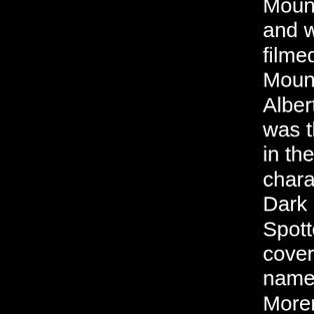(...) Mountie western - and was in reality, filmed in the Rocky Mountains of Banff, Alberta. Silverheels was the only Native in the cast, while characters Chief Dark Cloud and Spotted Eagle were covered by actors named Antonio Moreno and Anthony Caruso. Now if only Jay Silverheels or Rodd Redwing could have found alternate careers playing Italian Americans on the screen.